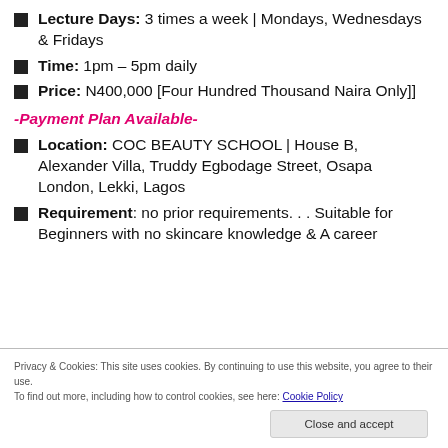Lecture Days: 3 times a week | Mondays, Wednesdays & Fridays
Time: 1pm – 5pm daily
Price: N400,000 [Four Hundred Thousand Naira Only]]
-Payment Plan Available-
Location: COC BEAUTY SCHOOL | House B, Alexander Villa, Truddy Egbodage Street, Osapa London, Lekki, Lagos
Requirement: no prior requirements. . . Suitable for Beginners with no skincare knowledge & A career
Privacy & Cookies: This site uses cookies. By continuing to use this website, you agree to their use. To find out more, including how to control cookies, see here: Cookie Policy
Close and accept